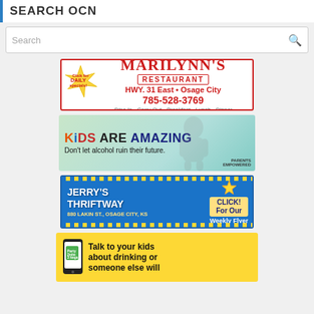SEARCH OCN
Search
[Figure (illustration): Marilynn's Restaurant advertisement. Red border. Large red serif text 'MARILYNN'S' with 'RESTAURANT' in a box below. Yellow starburst on left: 'Click for DAILY specials!' Text: HWY. 31 East • Osage City, 785-528-3769, Dine In • Carry Out • Breakfast • Lunch • Dinner]
[Figure (illustration): Kids Are Amazing - Parents Empowered ad. Background: light green/teal gradient with child photo. Text: 'KiDS ARE AMAZING' in bold multicolor letters, 'Don't let alcohol ruin their future.' Parents Empowered logo bottom right.]
[Figure (illustration): Jerry's Thriftway advertisement. Blue background with yellow checkered border. Large white bold text 'JERRY'S THRIFTWAY', address '880 LAKIN ST., OSAGE CITY, KS'. Right side: yellow 'CLICK! For Our Weekly Flyer' with flyer images. Yellow star graphic.]
[Figure (illustration): Yellow background ad with smartphone showing text message. Bold text: 'Talk to your kids about drinking or someone else will']